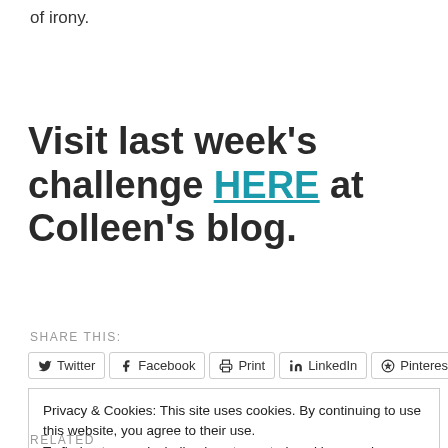of irony.
Visit last week's challenge HERE at Colleen's blog.
SHARE THIS:
Twitter  Facebook  Print  LinkedIn  Pinterest
Privacy & Cookies: This site uses cookies. By continuing to use this website, you agree to their use.
To find out more, including how to control cookies, see here: Cookie Policy
Close and accept
RELATED